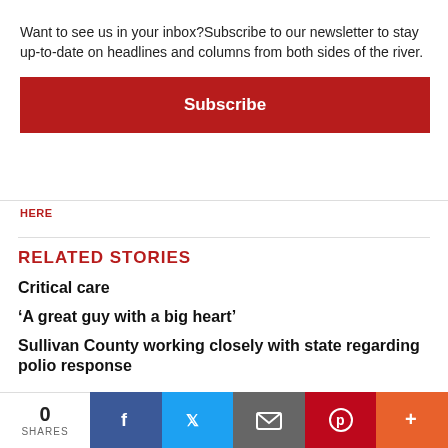Want to see us in your inbox?Subscribe to our newsletter to stay up-to-date on headlines and columns from both sides of the river.
Subscribe
HERE
RELATED STORIES
Critical care
‘A great guy with a big heart’
Sullivan County working closely with state regarding polio response
0 SHARES